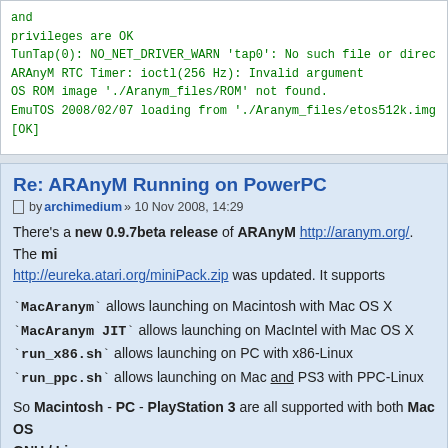and
privileges are OK
TunTap(0): NO_NET_DRIVER_WARN 'tap0': No such file or direc...
ARAnyM RTC Timer: ioctl(256 Hz): Invalid argument
OS ROM image './Aranym_files/ROM' not found.
EmuTOS 2008/02/07 loading from './Aranym_files/etos512k.img...
[OK]
Re: ARAnyM Running on PowerPC
by archimedium » 10 Nov 2008, 14:29
There's a new 0.9.7beta release of ARAnyM http://aranym.org/. The miniPack http://eureka.atari.org/miniPack.zip was updated. It supports
`MacAranym` allows launching on Macintosh with Mac OS X
`MacAranym JIT` allows launching on MacIntel with Mac OS X
`run_x86.sh` allows launching on PC with x86-Linux
`run_ppc.sh` allows launching on Mac and PS3 with PPC-Linux
So Macintosh - PC - PlayStation 3 are all supported with both Mac OS and GNU / Linux.
This simple ARAnyM (ATARI Running on Any Machine) configuration is based on Unices.